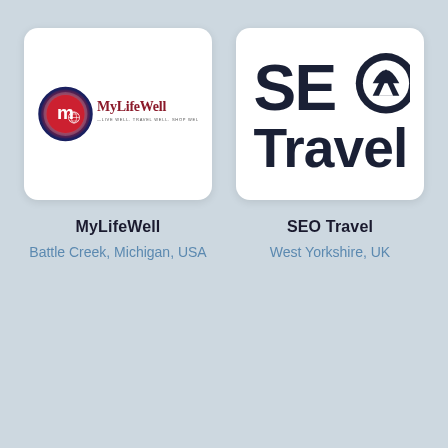[Figure (logo): MyLifeWell logo: circular emblem with letter 'm' and globe icon, red/blue gradient circle, with 'MyLifeWell' text in maroon and tagline 'Live Well. Travel Well. Shop Well.']
MyLifeWell
Battle Creek, Michigan, USA
[Figure (logo): SEO Travel logo: large bold dark navy text 'SEO' with mountain/arch icon integrated into the 'O', and 'Travel' below in same bold dark navy style]
SEO Travel
West Yorkshire, UK